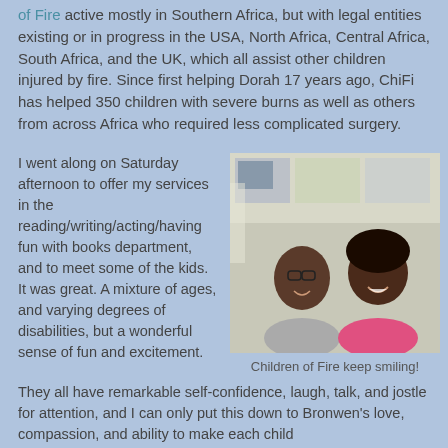of Fire active mostly in Southern Africa, but with legal entities existing or in progress in the USA, North Africa, Central Africa, South Africa, and the UK, which all assist other children injured by fire. Since first helping Dorah 17 years ago, ChiFi has helped 350 children with severe burns as well as others from across Africa who required less complicated surgery.
I went along on Saturday afternoon to offer my services in the reading/writing/acting/having fun with books department, and to meet some of the kids. It was great. A mixture of ages, and varying degrees of disabilities, but a wonderful sense of fun and excitement. They all have remarkable self-confidence, laugh, talk, and jostle for attention, and I can only put this down to Bronwen's love, compassion, and ability to make each child
[Figure (photo): Two people smiling at the camera indoors, one wearing a grey shirt and one wearing a pink top, with papers/maps on the wall behind them.]
Children of Fire keep smiling!